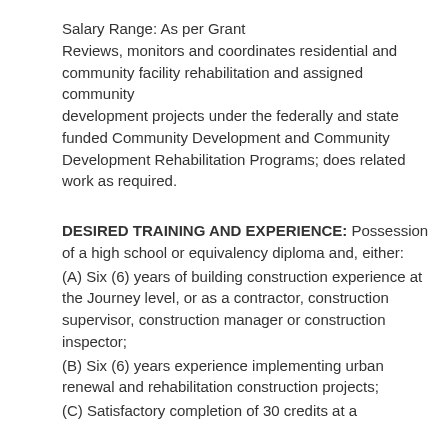Salary Range: As per Grant
Reviews, monitors and coordinates residential and community facility rehabilitation and assigned community development projects under the federally and state funded Community Development and Community Development Rehabilitation Programs; does related work as required.
DESIRED TRAINING AND EXPERIENCE: Possession of a high school or equivalency diploma and, either:
(A) Six (6) years of building construction experience at the Journey level, or as a contractor, construction supervisor, construction manager or construction inspector;
(B) Six (6) years experience implementing urban renewal and rehabilitation construction projects;
(C) Satisfactory completion of 30 credits at a